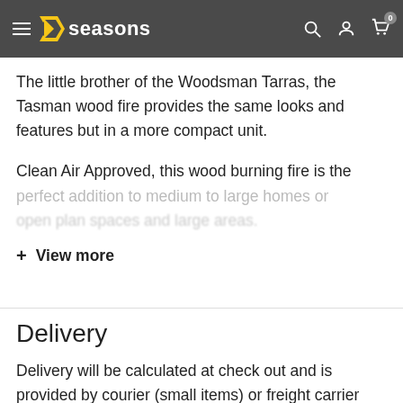4seasons — navigation header with hamburger menu, logo, search, account, and cart icons
The little brother of the Woodsman Tarras, the Tasman wood fire provides the same looks and features but in a more compact unit.
Clean Air Approved, this wood burning fire is the perfect addition to medium to large homes or [faded text continues]
+ View more
Delivery
Delivery will be calculated at check out and is provided by courier (small items) or freight carrier [text continues]